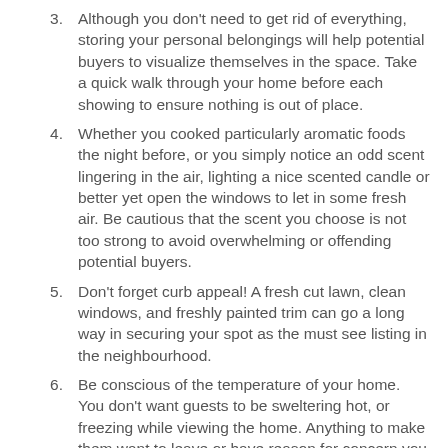Although you don't need to get rid of everything, storing your personal belongings will help potential buyers to visualize themselves in the space. Take a quick walk through your home before each showing to ensure nothing is out of place.
Whether you cooked particularly aromatic foods the night before, or you simply notice an odd scent lingering in the air, lighting a nice scented candle or better yet open the windows to let in some fresh air. Be cautious that the scent you choose is not too strong to avoid overwhelming or offending potential buyers.
Don't forget curb appeal! A fresh cut lawn, clean windows, and freshly painted trim can go a long way in securing your spot as the must see listing in the neighbourhood.
Be conscious of the temperature of your home. You don't want guests to be sweltering hot, or freezing while viewing the home. Anything to make them want to leave or have reason for concern you will want to avoid.
If you need to make any major improvements, make